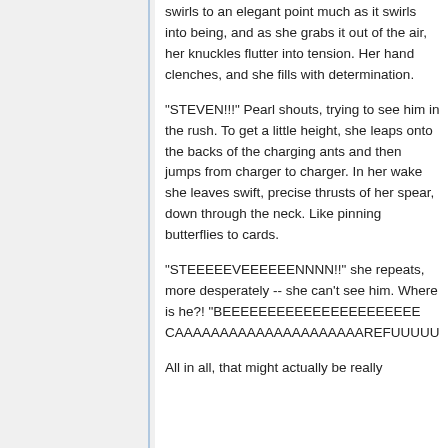swirls to an elegant point much as it swirls into being, and as she grabs it out of the air, her knuckles flutter into tension. Her hand clenches, and she fills with determination.
"STEVEN!!!" Pearl shouts, trying to see him in the rush. To get a little height, she leaps onto the backs of the charging ants and then jumps from charger to charger. In her wake she leaves swift, precise thrusts of her spear, down through the neck. Like pinning butterflies to cards.
"STEEEEEVEEEEEENNNN!!" she repeats, more desperately -- she can't see him. Where is he?! "BEEEEEEEEEEEEEEEEEEEEEE CAAAAAAAAAAAAAAAAAAAAAREFUUUUU
All in all, that might actually be really